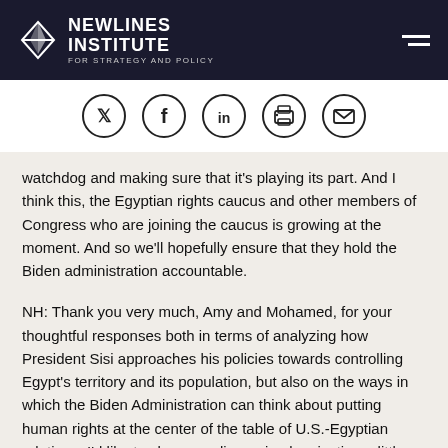[Figure (logo): Newlines Institute for Strategy and Policy logo with arrow icon on dark navy background]
[Figure (infographic): Social sharing icons: Twitter, Facebook, LinkedIn, Print, Email — each in a circle]
watchdog and making sure that it's playing its part. And I think this, the Egyptian rights caucus and other members of Congress who are joining the caucus is growing at the moment. And so we'll hopefully ensure that they hold the Biden administration accountable.
NH: Thank you very much, Amy and Mohamed, for your thoughtful responses both in terms of analyzing how President Sisi approaches his policies towards controlling Egypt's territory and its population, but also on the ways in which the Biden Administration can think about putting human rights at the center of the table of U.S.-Egyptian relations. I'd like to close our discussion by pivoting a little